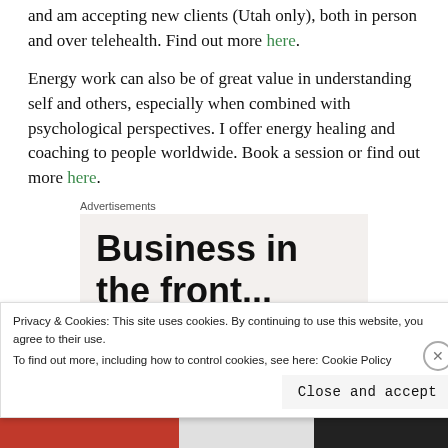and am accepting new clients (Utah only), both in person and over telehealth. Find out more here.
Energy work can also be of great value in understanding self and others, especially when combined with psychological perspectives. I offer energy healing and coaching to people worldwide. Book a session or find out more here.
Advertisements
[Figure (other): Advertisement box with bold sans-serif text reading 'Business in the front...']
Privacy & Cookies: This site uses cookies. By continuing to use this website, you agree to their use. To find out more, including how to control cookies, see here: Cookie Policy
Close and accept